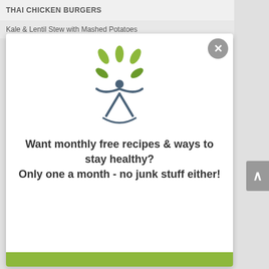THAI CHICKEN BURGERS
Kale & Lentil Stew with Mashed Potatoes
[Figure (logo): A Healthy View logo: stylized human figure with arms raised and green leaves above, dark blue/teal color, with the text 'A Healthy View' and a TM mark]
Want monthly free recipes & ways to stay healthy? Only one a month - no junk stuff either!